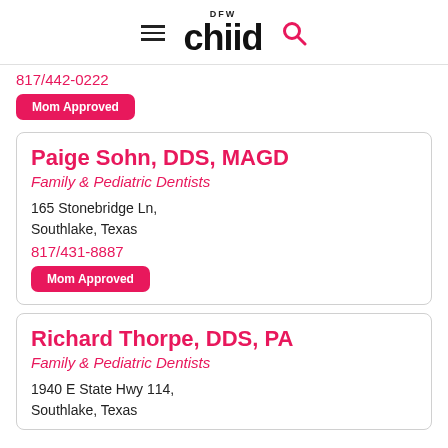DFW Child
817/442-0222
Mom Approved
Paige Sohn, DDS, MAGD
Family & Pediatric Dentists
165 Stonebridge Ln, Southlake, Texas
817/431-8887
Mom Approved
Richard Thorpe, DDS, PA
Family & Pediatric Dentists
1940 E State Hwy 114, Southlake, Texas